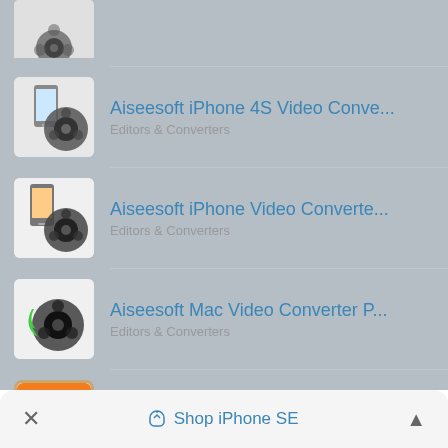[Figure (screenshot): Partial app icon visible at top of list]
Aiseesoft iPhone 4S Video Conve...
Editors & Converters
Aiseesoft iPhone Video Converte...
Editors & Converters
Aiseesoft Mac Video Converter P...
Editors & Converters
Aiseesoft Video Converter for Mac
Editors & Converters
× Shop iPhone SE ^